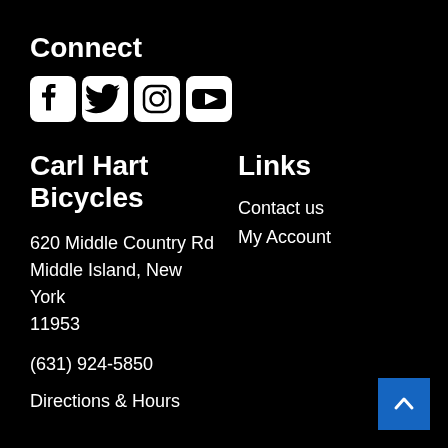Connect
[Figure (illustration): Social media icons: Facebook, Twitter, Instagram, YouTube — white icons on black background]
Carl Hart Bicycles
620 Middle Country Rd Middle Island, New York 11953
(631) 924-5850
Directions & Hours
Links
Contact us
My Account